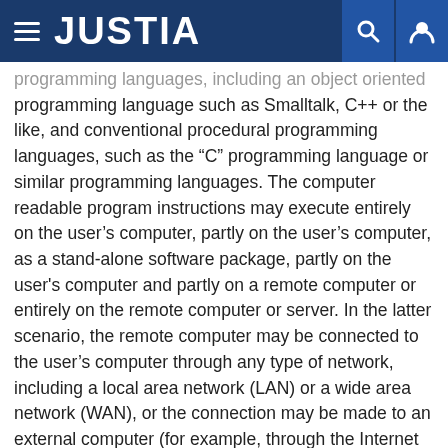JUSTIA
programming languages, including an object oriented programming language such as Smalltalk, C++ or the like, and conventional procedural programming languages, such as the “C” programming language or similar programming languages. The computer readable program instructions may execute entirely on the user’s computer, partly on the user’s computer, as a stand-alone software package, partly on the user's computer and partly on a remote computer or entirely on the remote computer or server. In the latter scenario, the remote computer may be connected to the user’s computer through any type of network, including a local area network (LAN) or a wide area network (WAN), or the connection may be made to an external computer (for example, through the Internet using an Internet Service Provider). In some embodiments, electronic circuitry including, for example, programmable logic circuitry,